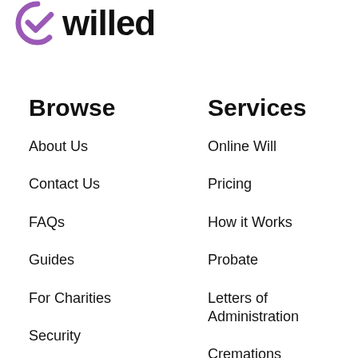[Figure (logo): ewilled logo with purple checkmark/e icon and bold black 'willed' text]
Browse
About Us
Contact Us
FAQs
Guides
For Charities
Security
Services
Online Will
Pricing
How it Works
Probate
Letters of Administration
Cremations
Prepaid Funerals